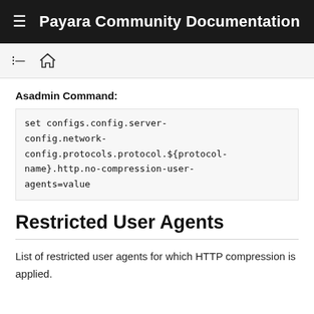Payara Community Documentation
Asadmin Command:
set configs.config.server-config.network-config.protocols.protocol.${protocol-name}.http.no-compression-user-agents=value
Restricted User Agents
List of restricted user agents for which HTTP compression is applied.